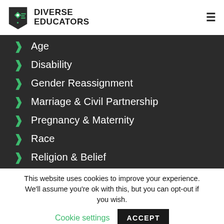Diverse Educators
Age
Disability
Gender Reassignment
Marriage & Civil Partnership
Pregnancy & Maternity
Race
Religion & Belief
This website uses cookies to improve your experience. We'll assume you're ok with this, but you can opt-out if you wish.
Cookie settings | ACCEPT